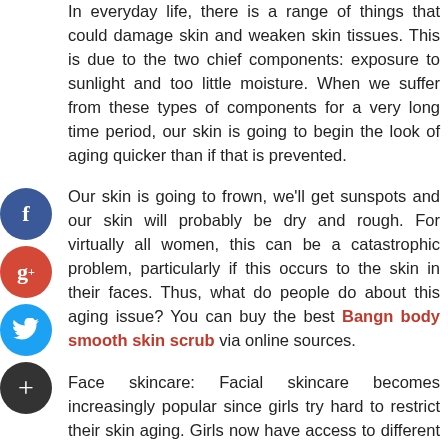In everyday life, there is a range of things that could damage skin and weaken skin tissues. This is due to the two chief components: exposure to sunlight and too little moisture. When we suffer from these types of components for a very long time period, our skin is going to begin the look of aging quicker than if that is prevented.
Our skin is going to frown, we'll get sunspots and our skin will probably be dry and rough. For virtually all women, this can be a catastrophic problem, particularly if this occurs to the skin in their faces. Thus, what do people do about this aging issue? You can buy the best Bangn body smooth skin scrub via online sources.
Face skincare: Facial skincare becomes increasingly popular since girls try hard to restrict their skin aging. Girls now have access to different anti-aging products which permit them to keep the attractiveness of the faces as they get old. For many women now, facial skin care is now part of everyday life and skin care now is routine. There are a